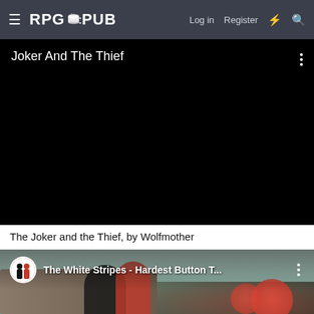RPG PUB — Log in   Register
[Figure (screenshot): Embedded YouTube-style video player with black background showing title 'Joker And The Thief' at top left with three-dot menu icon at top right]
The Joker and the Thief, by Wolfmother
[Figure (screenshot): Embedded YouTube video thumbnail for 'The White Stripes - Hardest Button T...' showing channel icon and outdoor scene with figures in red and black clothing, red candy/peppermint shapes in background]